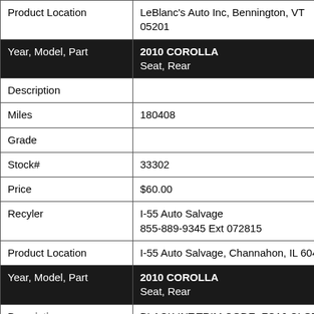| Field | Value |
| --- | --- |
| Product Location | LeBlanc's Auto Inc, Bennington, VT 05201 |
| Year, Model, Part | 2010 COROLLA
Seat, Rear |
| Description |  |
| Miles | 180408 |
| Grade |  |
| Stock# | 33302 |
| Price | $60.00 |
| Recyler | I-55 Auto Salvage
855-889-9345 Ext 072815 |
| Product Location | I-55 Auto Salvage, Channahon, IL 60410 |
| Year, Model, Part | 2010 COROLLA
Seat, Rear |
| Description | BLACK INT,TRIM CODE=FC16,CLOTH |
| Miles | 165000 |